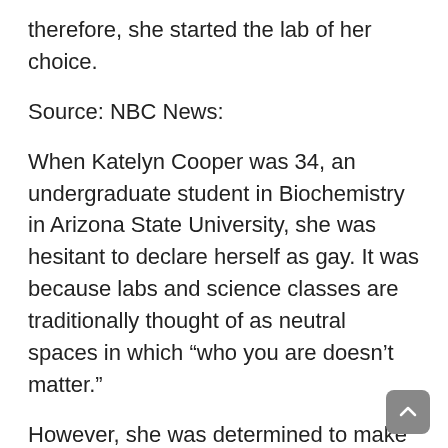therefore, she started the lab of her choice.
Source: NBC News:
When Katelyn Cooper was 34, an undergraduate student in Biochemistry in Arizona State University, she was hesitant to declare herself as gay. It was because labs and science classes are traditionally thought of as neutral spaces in which “who you are doesn’t matter.”
However, she was determined to make a difference to others, and this could be achieved by identifying sexual desires of her instructors:
“It felt pretty lonely as an undergrad,” Cooper said to